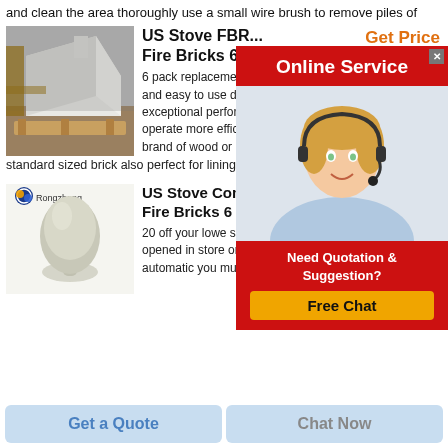and clean the area thoroughly use a small wire brush to remove piles of
Get Price
[Figure (screenshot): Online Service overlay panel with red header, customer service agent photo, Need Quotation & Suggestion text, and Free Chat button]
[Figure (photo): White angular fire brick / refractory product on wooden pallet in warehouse]
US Stove FBR... Fire Bricks 6 P...
6 pack replacement and easy to use de... exceptional perform... operate more efficie... brand of wood or co...
standard sized brick also perfect for lining
[Figure (photo): Grey ceramic/powder product shaped like a teardrop/mushroom on white background, with Rongzheng logo in upper left]
US Stove Company... Fire Bricks 6 Pack In The
20 off your lowe s advantage card purchase accounts opened in store one time 20 off discount is not automatic you must ask cashier
Get a Quote
Chat Now